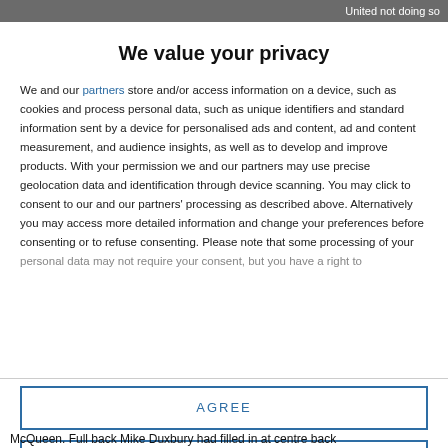United not doing so
We value your privacy
We and our partners store and/or access information on a device, such as cookies and process personal data, such as unique identifiers and standard information sent by a device for personalised ads and content, ad and content measurement, and audience insights, as well as to develop and improve products. With your permission we and our partners may use precise geolocation data and identification through device scanning. You may click to consent to our and our partners' processing as described above. Alternatively you may access more detailed information and change your preferences before consenting or to refuse consenting. Please note that some processing of your personal data may not require your consent, but you have a right to
AGREE
MORE OPTIONS
McQueen. Full back Mike Duxbury had filled in at centre back